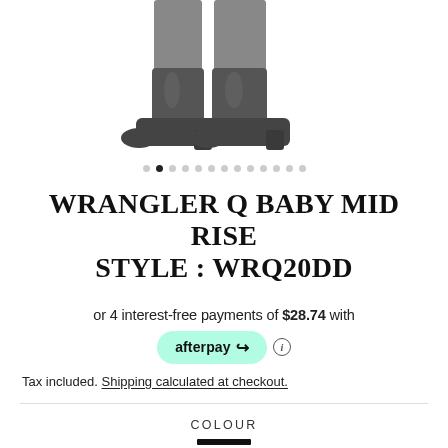[Figure (photo): Partial image of a person wearing dark jeans and dark cowboy/western boots, cropped to show legs and boots only]
WRANGLER Q BABY MID RISE STYLE : WRQ20DD
or 4 interest-free payments of $28.74 with afterpay
Tax included. Shipping calculated at checkout.
COLOUR